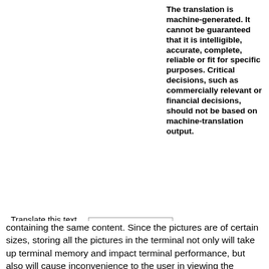The translation is machine-generated. It cannot be guaranteed that it is intelligible, accurate, complete, reliable or fit for specific purposes. Critical decisions, such as commercially relevant or financial decisions, should not be based on machine-translation output.
Translate this text into
[Figure (logo): patenttranslate logo - red badge with arrows icon and text 'patenttranslate', subtitle 'powered by EPO and Google']
containing the same content. Since the pictures are of certain sizes, storing all the pictures in the terminal not only will take up terminal memory and impact terminal performance, but also will cause inconvenience to the user in viewing the pictures. Therefore, it is required to process pictures stored in the terminal.